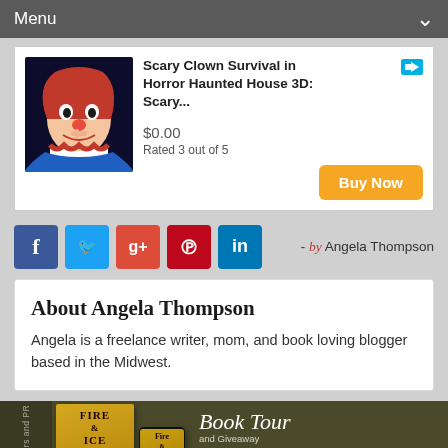Menu
[Figure (screenshot): Advertisement: Scary Clown Survival in Horror Haunted House 3D: Scary... $0.00, Rated 3 out of 5, Buy Now button]
- by Angela Thompson
Social media share buttons: Facebook, Twitter, Google+, Pinterest, LinkedIn
About Angela Thompson
Angela is a freelance writer, mom, and book loving blogger based in the Midwest.
[Figure (illustration): ABT Book Tours and PR - Book Tour and Giveaway banner for Fire & Ice by B.T. Fagan, showing book cover and phone mockup]